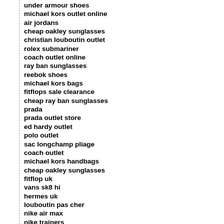under armour shoes
michael kors outlet online
air jordans
cheap oakley sunglasses
christian louboutin outlet
rolex submariner
coach outlet online
ray ban sunglasses
reebok shoes
michael kors bags
fitflops sale clearance
cheap ray ban sunglasses
prada
prada outlet store
ed hardy outlet
polo outlet
sac longchamp pliage
coach outlet
michael kors handbags
cheap oakley sunglasses
fitflop uk
vans sk8 hi
hermes uk
louboutin pas cher
nike air max
nike trainers
coach outlet
omega watches